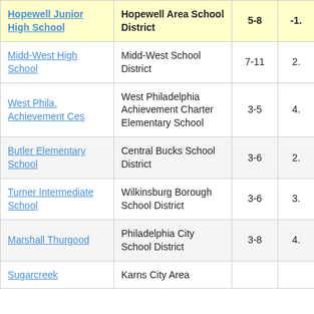| School | District | Grades | Value |
| --- | --- | --- | --- |
| Hopewell Junior High School | Hopewell Area School District | 5-8 | -1. |
| Midd-West High School | Midd-West School District | 7-11 | 2. |
| West Phila. Achievement Ces | West Philadelphia Achievement Charter Elementary School | 3-5 | 4. |
| Butler Elementary School | Central Bucks School District | 3-6 | 2. |
| Turner Intermediate School | Wilkinsburg Borough School District | 3-6 | 3. |
| Marshall Thurgood | Philadelphia City School District | 3-8 | 4. |
| Sugarcreek | Karns City Area | 3-6 |  |